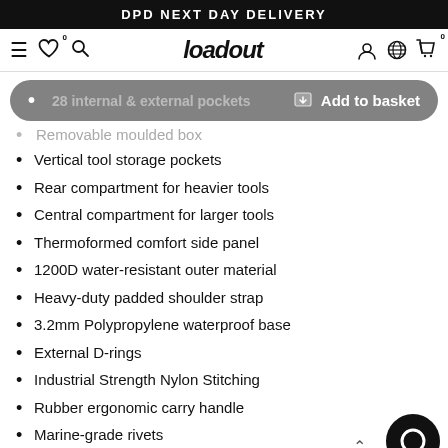DPD NEXT DAY DELIVERY
[Figure (screenshot): Website navigation bar with hamburger menu, heart icon with 0 badge, search icon, Loadout logo in italic bold font, user icon, globe icon, and basket icon with 0 badge]
[Figure (screenshot): Grey rounded Add to basket overlay button with download icon, overlapping a bullet point for '28 internal & external pockets']
Removable moulded box
Vertical tool storage pockets
Rear compartment for heavier tools
Central compartment for larger tools
Thermoformed comfort side panel
1200D water-resistant outer material
Heavy-duty padded shoulder strap
3.2mm Polypropylene waterproof base
External D-rings
Industrial Strength Nylon Stitching
Rubber ergonomic carry handle
Marine-grade rivets
Lost & found Warranty Registration card